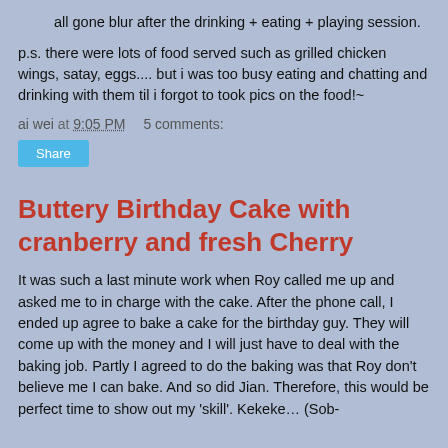all gone blur after the drinking + eating + playing session.
p.s. there were lots of food served such as grilled chicken wings, satay, eggs.... but i was too busy eating and chatting and drinking with them til i forgot to took pics on the food!~
ai wei at 9:05 PM    5 comments:
Share
Buttery Birthday Cake with cranberry and fresh Cherry
It was such a last minute work when Roy called me up and asked me to in charge with the cake. After the phone call, I ended up agree to bake a cake for the birthday guy. They will come up with the money and I will just have to deal with the baking job. Partly I agreed to do the baking was that Roy don't believe me I can bake. And so did Jian. Therefore, this would be perfect time to show out my 'skill'. Kekeke… (Sob-